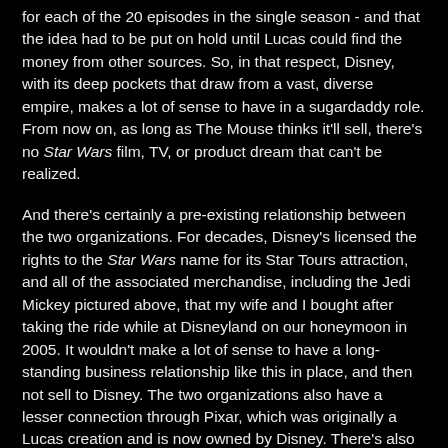for each of the 20 episodes in the single season - and that the idea had to be put on hold until Lucas could find the money from other sources. So, in that respect, Disney, with its deep pockets that draw from a vast, diverse empire, makes a lot of sense to have in a sugardaddy role. From now on, as long as The Mouse thinks it'll sell, there's no Star Wars film, TV, or product dream that can't be realized.
And there's certainly a pre-existing relationship between the two organizations. For decades, Disney's licensed the rights to the Star Wars name for its Star Tours attraction, and all of the associated merchandise, including the Jedi Mickey pictured above, that my wife and I bought after taking the ride while at Disneyland on our honeymoon in 2005. It wouldn't make a lot of sense to have a long-standing business relationship like this in place, and then not sell to Disney. The two organizations also have a lesser connection through Pixar, which was originally a Lucas creation and is now owned by Disney. There's also the Muppet connection, with Disney currently owning the property, and Lucasfilm having drawn from its talents to produce Yoda and various other characters during the making of the original trilogy